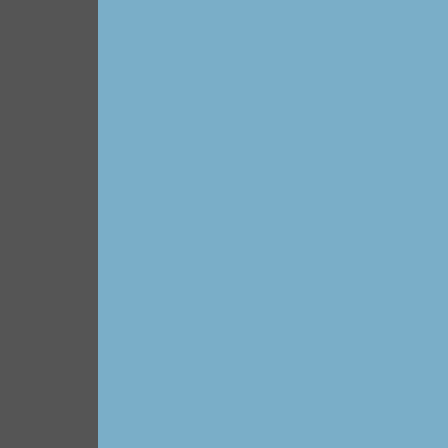[Figure (other): Blue panel occupying left and center portion of page]
| Code |
| --- |
| 1836235C1 |
| 1836005C1 |
| 1881217C91 |
| 1841885C1 |
| 1841350C1 |
| 1841348C1 |
| 1842662C91 |
| 1842663C93 |
|  |
| 1842563C94 |
| 1833357C95 |
| 690437C93 |
| 1833096C94 |
| 1827476C93 |
| 1841350C1 |
| 1836190C3 |
| 1843445C2 |
| 1841296C1 |
| 1841317C91 |
| 1833483C1 |
| 1833482C1 |
| 1827176C91 |